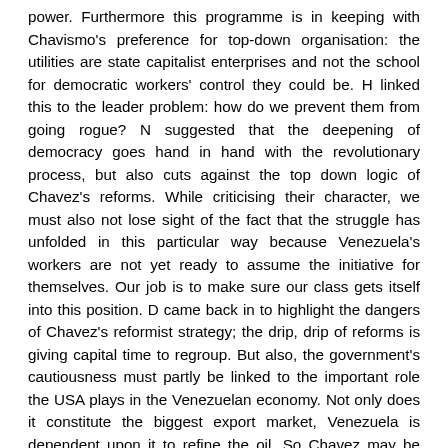power. Furthermore this programme is in keeping with Chavismo's preference for top-down organisation: the utilities are state capitalist enterprises and not the school for democratic workers' control they could be. H linked this to the leader problem: how do we prevent them from going rogue? N suggested that the deepening of democracy goes hand in hand with the revolutionary process, but also cuts against the top down logic of Chavez's reforms. While criticising their character, we must also not lose sight of the fact that the struggle has unfolded in this particular way because Venezuela's workers are not yet ready to assume the initiative for themselves. Our job is to make sure our class gets itself into this position. D came back in to highlight the dangers of Chavez's reformist strategy; the drip, drip of reforms is giving capital time to regroup. But also, the government's cautiousness must partly be linked to the important role the USA plays in the Venezuelan economy. Not only does it constitute the biggest export market, Venezuela is dependent upon it to refine the oil. So Chavez may be afraid of rocking the boat too much.
Summing up, A felt that he had bent the stick too far in